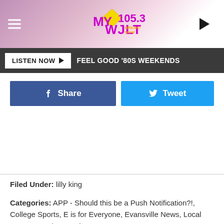MY 105.3 WJLT — LISTEN NOW ▶ FEEL GOOD '80S WEEKENDS
[Figure (screenshot): MY 105.3 WJLT radio station logo with hamburger menu and play button in header]
Share
Tweet
Filed Under: lilly king
Categories: APP - Should this be a Push Notification?!, College Sports, E is for Everyone, Evansville News, Local News, Newsletter, What's New